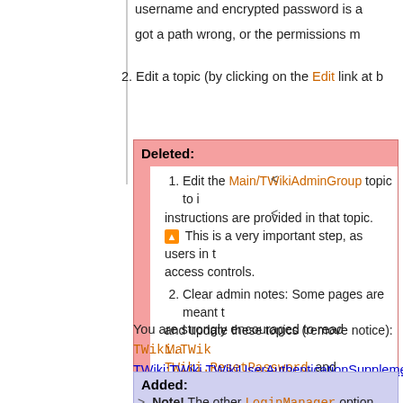username and encrypted password is a
got a path wrong, or the permissions m
2. Edit a topic (by clicking on the Edit link at b
Deleted:
1. Edit the Main/TWikiAdminGroup topic to i instructions are provided in that topic. ⚠ This is a very important step, as users in t access controls.
2. Clear admin notes: Some pages are meant t and update these topics (remove notice): Ma TWiki.ResetPassword, and TWiki.Chan
You are strongly encouraged to read TWiki.TWik TWiki:TWiki.TWikiUserAuthenticationSupplement information about managing users and security of y
Added:
> Note! The other LoginManager option TWiki::